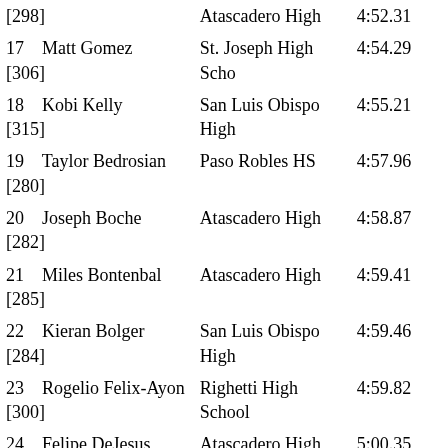| Place / Bib | School | Time |
| --- | --- | --- |
| [298] | Atascadero High | 4:52.31 |
| 17    Matt Gomez [306] | St. Joseph High Scho | 4:54.29 |
| 18    Kobi Kelly [315] | San Luis Obispo High | 4:55.21 |
| 19    Taylor Bedrosian [280] | Paso Robles HS | 4:57.96 |
| 20    Joseph Boche [282] | Atascadero High | 4:58.87 |
| 21    Miles Bontenbal [285] | Atascadero High | 4:59.41 |
| 22    Kieran Bolger [284] | San Luis Obispo High | 4:59.46 |
| 23    Rogelio Felix-Ayon [300] | Righetti High School | 4:59.82 |
| 24    Felipe DeJesus [294] | Atascadero High | 5:00.35 |
| 25    Michael Pineda [335] | Paso Robles HS | 5:04.50 |
| 26    Santos Peinado |  |  |